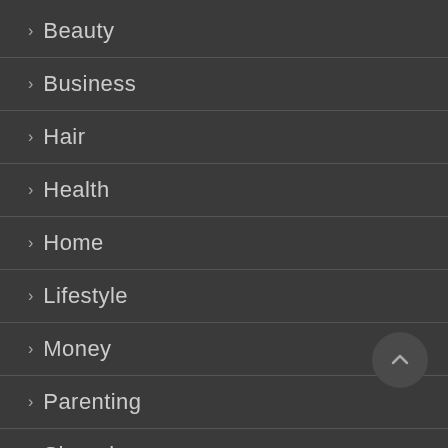> Beauty
> Business
> Hair
> Health
> Home
> Lifestyle
> Money
> Parenting
> Shopping
> Style